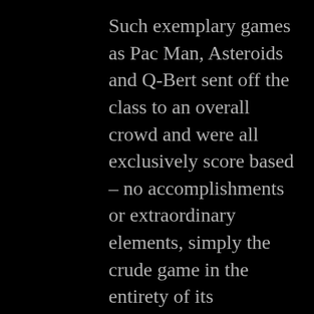Such exemplary games as Pac Man, Asteroids and Q-Bert sent off the class to an overall crowd and were all exclusively score based – no accomplishments or extraordinary elements, simply the crude game in the entirety of its magnificence. Since being moved to a home gaming stage, these games (Pac Man particularly) have demonstrated immense victories, moving another age of gamers to play the games that their dads played twenty years prior. Pac Man